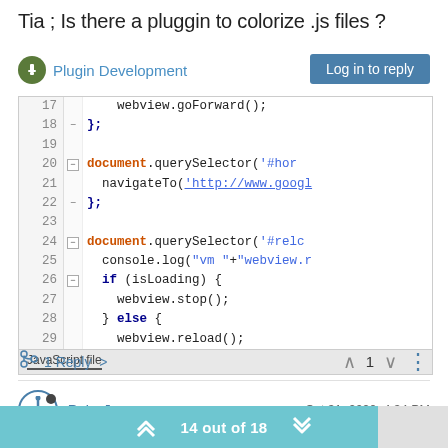Tia ; Is there a pluggin to colorize .js files ?
Plugin Development
Log in to reply
[Figure (screenshot): Code editor screenshot showing JavaScript code with syntax highlighting. Lines 17-29 visible. Code includes webview.goForward(), document.querySelector, navigateTo, console.log, if (isLoading) { webview.stop(); } else { webview.reload(); }. Status bar shows 'JavaScript file'.]
1 Reply >
1
PeterJones
Oct 31, 2020, 4:34 PM
14 out of 18